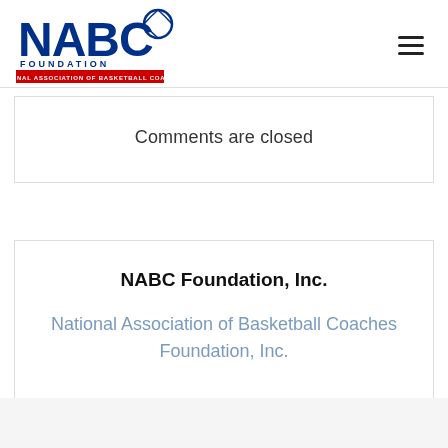[Figure (logo): NABC Foundation logo — blue NABC letters with basketball graphic, FOUNDATION text below, red banner reading NATIONAL ASSOCIATION OF BASKETBALL COACHES]
Comments are closed
NABC Foundation, Inc.
National Association of Basketball Coaches Foundation, Inc.